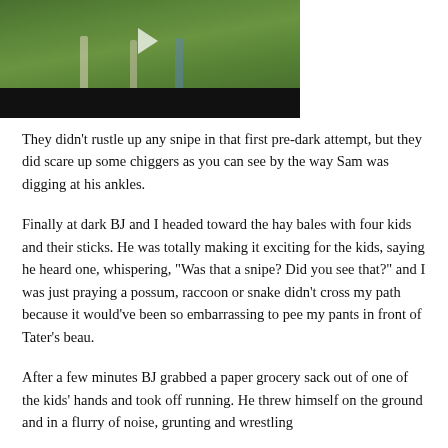[Figure (photo): Outdoor scene on a grassy field with people visible, with a black bar at the bottom (video player thumbnail)]
They didn't rustle up any snipe in that first pre-dark attempt, but they did scare up some chiggers as you can see by the way Sam was digging at his ankles.
Finally at dark BJ and I headed toward the hay bales with four kids and their sticks. He was totally making it exciting for the kids, saying he heard one, whispering, "Was that a snipe? Did you see that?" and I was just praying a possum, raccoon or snake didn't cross my path because it would've been so embarrassing to pee my pants in front of Tater's beau.
After a few minutes BJ grabbed a paper grocery sack out of one of the kids' hands and took off running. He threw himself on the ground and in a flurry of noise, grunting and wrestling